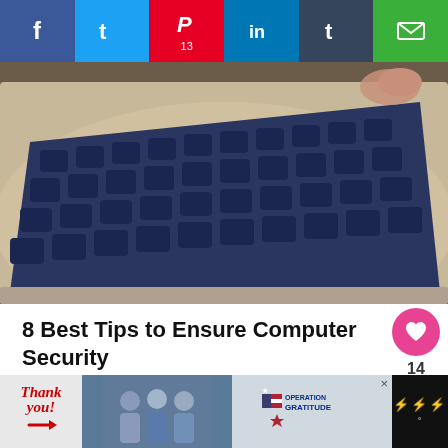[Figure (screenshot): Social media sharing bar with Facebook, Twitter, Pinterest (13 shares), LinkedIn, Tumblr, and Email buttons]
[Figure (photo): Close-up photo of a laptop keyboard with dark blue/navy keys on a silver/grey body, viewed at an angle, with a person's finger visible at the top]
8 Best Tips to Ensure Computer Security
[Figure (infographic): Like/heart button widget showing 14 likes and a share icon below]
[Figure (screenshot): Advertisement banner at bottom: Thank You ad with Operation Gratitude branding and WeatherBug logo on black background]